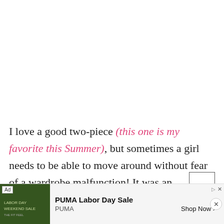I love a good two-piece (this one is my favorite this Summer), but sometimes a girl needs to be able to move around without fear of a wardrobe malfunction! It was an exhaustive search, but I finally found one that was both comfortable and flattering. It has figure-sculpting bands a… (it'll more it…) built-in cups to…
[Figure (screenshot): Advertisement banner for PUMA Labor Day Sale with ad label, thumbnail image, title 'PUMA Labor Day Sale', brand 'PUMA', and 'Shop Now >' button. Overlays the bottom of the page.]